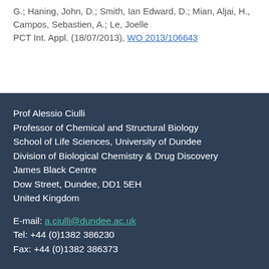G.; Haning, John, D.; Smith, Ian Edward, D.; Mian, Aljai, H.; Campos, Sebastien, A.; Le, Joelle
PCT Int. Appl. (18/07/2013), WO 2013/106643
Prof Alessio Ciulli
Professor of Chemical and Structural Biology
School of Life Sciences, University of Dundee
Division of Biological Chemistry & Drug Discovery
James Black Centre
Dow Street, Dundee, DD1 5EH
United Kingdom

E-mail: a.ciulli@dundee.ac.uk
Tel: +44 (0)1382 386230
Fax: +44 (0)1382 386373